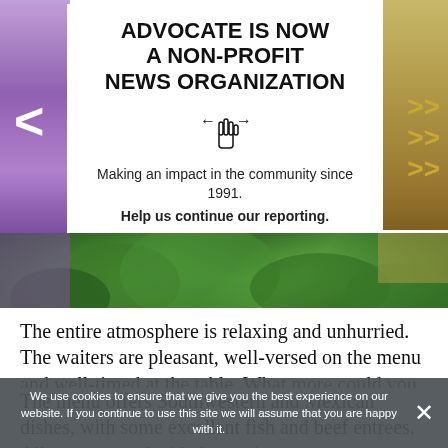[Figure (other): Advocate non-profit news organization advertisement banner with purple side panels, navigation arrows, white card with headline, cursor icon, body text, and Advocate logo. Below is a green cactus/plant photo strip.]
The entire atmosphere is relaxing and unhurried. The waiters are pleasant, well-versed on the menu and well-timed at the table. What more could you ask?
We use cookies to ensure that we give you the best experience on our website. If you continue to use this site we will assume that you are happy with it.
The menu offers Southwestern and Mexican dishes, with some excellent fish and beef entrees. All are prepared with Antony's